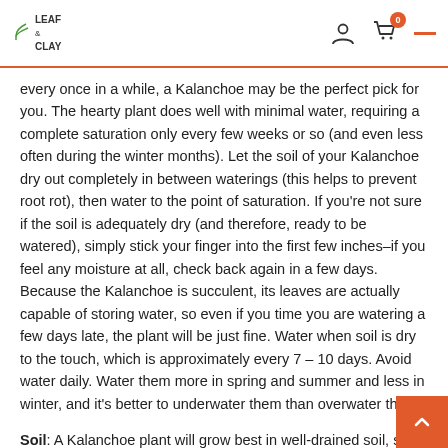LEAF & CLAY
every once in a while, a Kalanchoe may be the perfect pick for you. The hearty plant does well with minimal water, requiring a complete saturation only every few weeks or so (and even less often during the winter months). Let the soil of your Kalanchoe dry out completely in between waterings (this helps to prevent root rot), then water to the point of saturation. If you're not sure if the soil is adequately dry (and therefore, ready to be watered), simply stick your finger into the first few inches–if you feel any moisture at all, check back again in a few days. Because the Kalanchoe is succulent, its leaves are actually capable of storing water, so even if you time you are watering a few days late, the plant will be just fine. Water when soil is dry to the touch, which is approximately every 7 – 10 days. Avoid water daily. Water them more in spring and summer and less in winter, and it's better to underwater them than overwater them.
Soil: A Kalanchoe plant will grow best in well-drained soil, so choose or create a blend that doesn't retain too much mois like a 50 percent potting soil and 50 percent cactus mix or a percent peat moss and 40 percent perlite mix. Make sure the soil